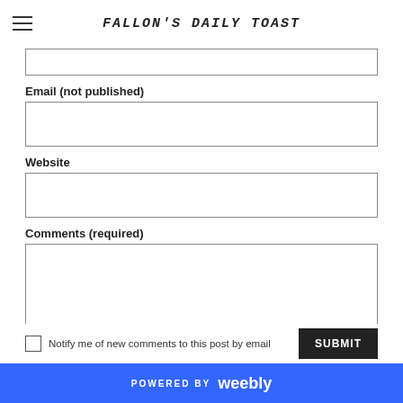FALLON'S DAILY TOAST
Email (not published)
Website
Comments (required)
Notify me of new comments to this post by email
SUBMIT
POWERED BY weebly